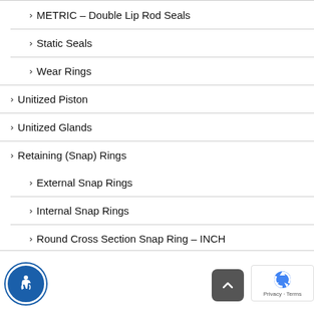METRIC – Double Lip Rod Seals
Static Seals
Wear Rings
Unitized Piston
Unitized Glands
Retaining (Snap) Rings
External Snap Rings
Internal Snap Rings
Round Cross Section Snap Ring – INCH